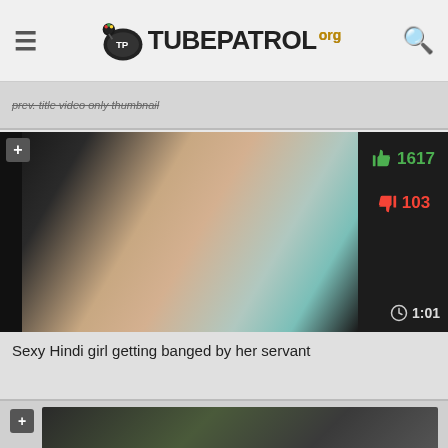TUBEPATROL.org
prev. title video only thumbnail
[Figure (screenshot): Video thumbnail showing close-up image with dark sidebar showing likes 1617, dislikes 103, and duration 1:01]
Sexy Hindi girl getting banged by her servant
[Figure (screenshot): Partial video card at bottom, partially visible]